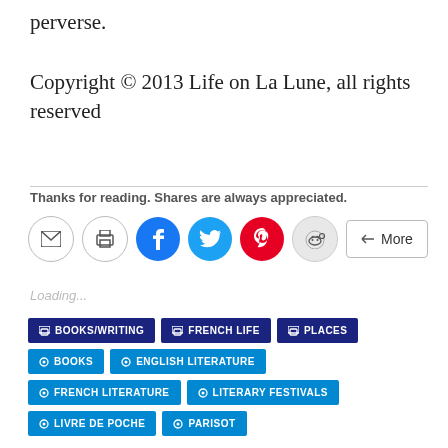perverse.
Copyright © 2013 Life on La Lune, all rights reserved
Thanks for reading. Shares are always appreciated.
[Figure (other): Social share buttons: email, print, Facebook, Twitter, Pinterest, Reddit, More]
Loading...
BOOKS/WRITING  FRENCH LIFE  PLACES  BOOKS  ENGLISH LITERATURE  FRENCH LITERATURE  LITERARY FESTIVALS  LIVRE DE POCHE  PARISOT